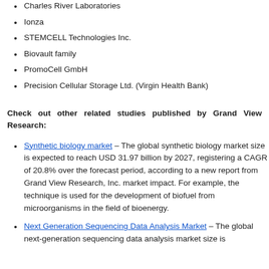Charles River Laboratories
Ionza
STEMCELL Technologies Inc.
Biovault family
PromoCell GmbH
Precision Cellular Storage Ltd. (Virgin Health Bank)
Check out other related studies published by Grand View Research:
Synthetic biology market – The global synthetic biology market size is expected to reach USD 31.97 billion by 2027, registering a CAGR of 20.8% over the forecast period, according to a new report from Grand View Research, Inc. market impact. For example, the technique is used for the development of biofuel from microorganisms in the field of bioenergy.
Next Generation Sequencing Data Analysis Market – The global next-generation sequencing data analysis market size is